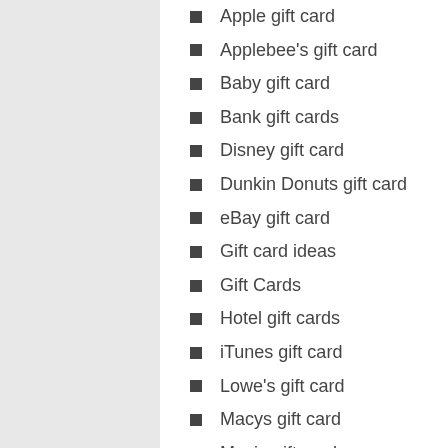Apple gift card
Applebee's gift card
Baby gift card
Bank gift cards
Disney gift card
Dunkin Donuts gift card
eBay gift card
Gift card ideas
Gift Cards
Hotel gift cards
iTunes gift card
Lowe's gift card
Macys gift card
Movie gift card
Nordstrom gift card
Papa Johns gift card